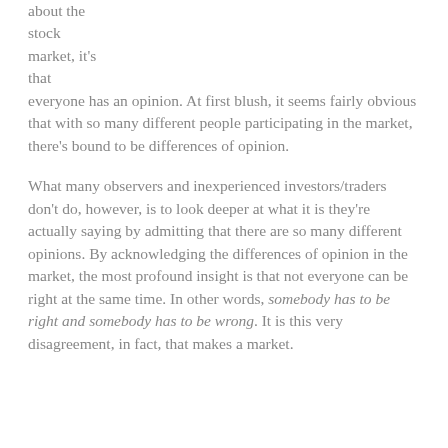about the stock market, it's that everyone has an opinion. At first blush, it seems fairly obvious that with so many different people participating in the market, there's bound to be differences of opinion.
What many observers and inexperienced investors/traders don't do, however, is to look deeper at what it is they're actually saying by admitting that there are so many different opinions. By acknowledging the differences of opinion in the market, the most profound insight is that not everyone can be right at the same time. In other words, somebody has to be right and somebody has to be wrong. It is this very disagreement, in fact, that makes a market.